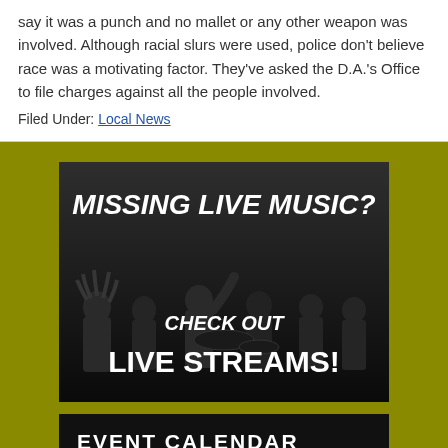say it was a punch and no mallet or any other weapon was involved. Although racial slurs were used, police don't believe race was a motivating factor. They've asked the D.A.'s Office to file charges against all the people involved.
Filed Under: Local News
[Figure (photo): Band photo with text overlay: 'MISSING LIVE MUSIC? CHECK OUT LIVE STREAMS!' — black and white photo of a rock band with several members on stage]
EVENT CALENDAR